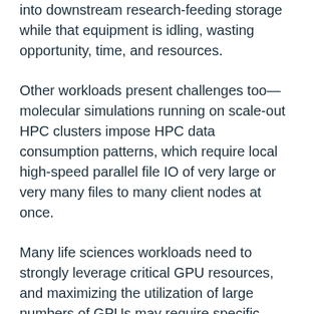into downstream research-feeding storage while that equipment is idling, wasting opportunity, time, and resources.
Other workloads present challenges too—molecular simulations running on scale-out HPC clusters impose HPC data consumption patterns, which require local high-speed parallel file IO of very large or very many files to many client nodes at once.
Many life sciences workloads need to strongly leverage critical GPU resources, and maximizing the utilization of large numbers of GPUs may require specific GPU-related storage features. And on-line data capacity demands mount with each type of research conducted, each form of analysis required, and every AI/ML model